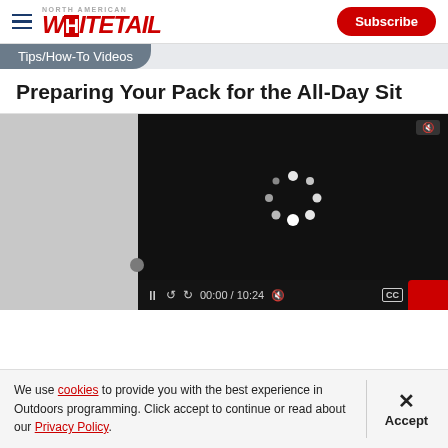North American Whitetail — Subscribe
Tips/How-To Videos
Preparing Your Pack for the All-Day Sit
[Figure (screenshot): Video player showing loading spinner, mute icon, and controls: pause, rewind, forward, time 00:00 / 10:24, mute, CC, settings, fullscreen buttons]
We use cookies to provide you with the best experience in Outdoors programming. Click accept to continue or read about our Privacy Policy.